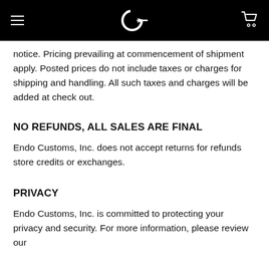Endo Customs header with logo and navigation
notice.  Pricing prevailing at commencement of shipment apply.  Posted prices do not include taxes or charges for shipping and handling.  All such taxes and charges will be added at check out.
NO REFUNDS, ALL SALES ARE FINAL
Endo Customs, Inc. does not accept returns for refunds store credits or exchanges.
PRIVACY
Endo Customs, Inc. is committed to protecting your privacy and security.  For more information, please review our